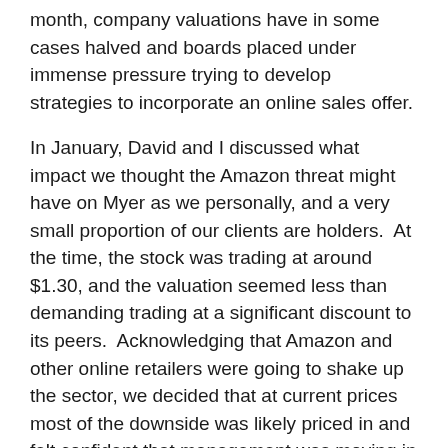month, company valuations have in some cases halved and boards placed under immense pressure trying to develop strategies to incorporate an online sales offer.
In January, David and I discussed what impact we thought the Amazon threat might have on Myer as we personally, and a very small proportion of our clients are holders. At the time, the stock was trading at around $1.30, and the valuation seemed less than demanding trading at a significant discount to its peers. Acknowledging that Amazon and other online retailers were going to shake up the sector, we decided that at current prices most of the downside was likely priced in and felt confident that management was moving in the right direction with their omni-channel marketing.
With that in mind, and given that Solomon Lew had just purchased a substantial stake in the company we decide hold.